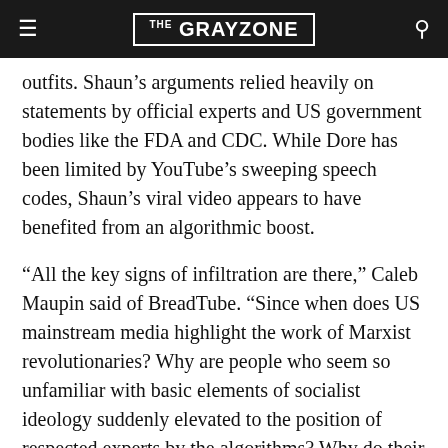THE GRAYZONE
outfits. Shaun’s arguments relied heavily on statements by official experts and US government bodies like the FDA and CDC. While Dore has been limited by YouTube’s sweeping speech codes, Shaun’s viral video appears to have benefited from an algorithmic boost.
“All the key signs of infiltration are there,” Caleb Maupin said of BreadTube. “Since when does US mainstream media highlight the work of Marxist revolutionaries? Why are people who seem so unfamiliar with basic elements of socialist ideology suddenly elevated to the position of respected experts by the algorithms? Why do their foreign policy views